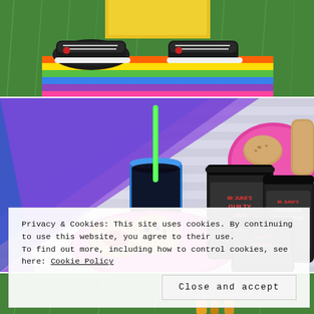[Figure (photo): Top portion of a photo showing feet/shoes of a person on grass with a colorful rainbow blanket/towel]
[Figure (photo): Overhead view of a picnic spread on a rainbow striped blanket with Mr Juke's jam jars, muffins/scones on a pink plate, a blue cup with green straw, and breads on a pink plate]
Privacy & Cookies: This site uses cookies. By continuing to use this website, you agree to their use.
To find out more, including how to control cookies, see here: Cookie Policy
Close and accept
[Figure (photo): Bottom strip of a photo showing grass and colorful items]